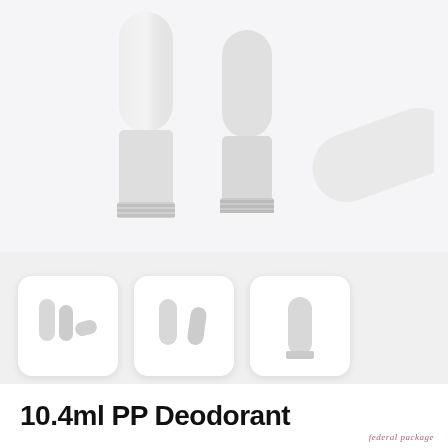[Figure (photo): Three white PP deodorant stick containers — two standing upright and one lying on its side, shown on a light gray background]
[Figure (photo): Three thumbnail images of the deodorant sticks in rounded-square frames: first shows three sticks, second shows two sticks, third shows one stick]
[Figure (other): Carousel indicator dots: one green pill-shape and two gray circles]
10.4ml PP Deodorant
[Figure (logo): federal package logo in italic pink text, bottom right corner]